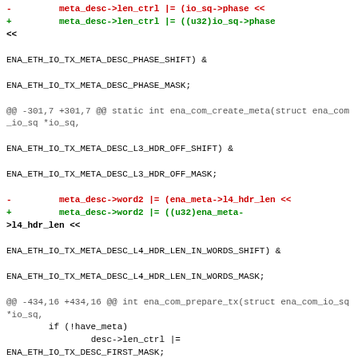Diff code block showing changes to ENA driver code including meta_desc->len_ctrl, meta_desc->word2 assignments with u32 casts, and hunk headers for lines 301 and 434.